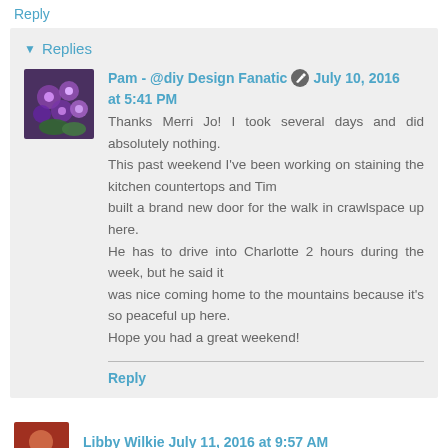Reply
Replies
Pam - @diy Design Fanatic  July 10, 2016 at 5:41 PM
Thanks Merri Jo! I took several days and did absolutely nothing.
This past weekend I've been working on staining the kitchen countertops and Tim
built a brand new door for the walk in crawlspace up here.
He has to drive into Charlotte 2 hours during the week, but he said it
was nice coming home to the mountains because it's so peaceful up here.
Hope you had a great weekend!
Reply
Libby Wilkie  July 11, 2016 at 9:57 AM